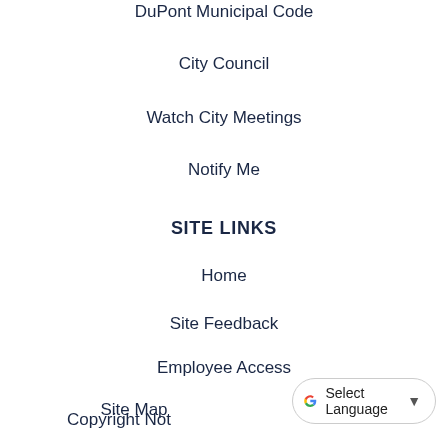DuPont Municipal Code
City Council
Watch City Meetings
Notify Me
SITE LINKS
Home
Site Feedback
Employee Access
Site Map
Accessibility
Copyright Not
Select Language